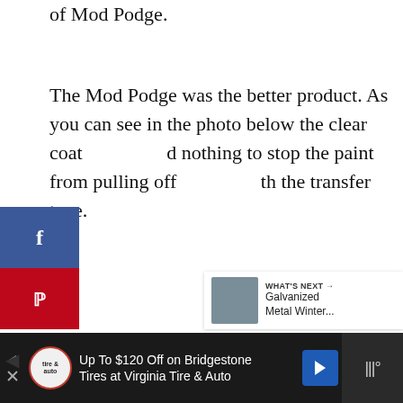of Mod Podge.
The Mod Podge was the better product. As you can see in the photo below the clear coat did nothing to stop the paint from pulling off with the transfer tape.
[Figure (screenshot): Social share buttons (Facebook and Pinterest) on the left side of the page]
[Figure (screenshot): Content area with three dots loading indicator, heart/like button showing count of 4, share button, and a 'What's Next' panel showing 'Galvanized Metal Winter...' thumbnail]
[Figure (screenshot): Advertisement banner: 'Up To $120 Off on Bridgestone Tires at Virginia Tire & Auto' with logo and navigation arrow icon]